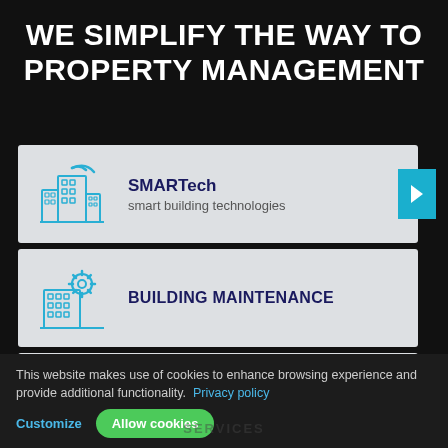WE SIMPLIFY THE WAY TO PROPERTY MANAGEMENT
SMARTech — smart building technologies
BUILDING MAINTENANCE
SECURITY
This website makes use of cookies to enhance browsing experience and provide additional functionality. Privacy policy
Customize    Allow cookies